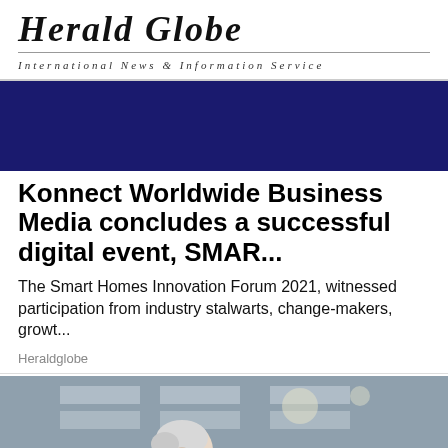Herald Globe
International News & Information Service
[Figure (other): Dark navy blue advertisement banner]
Konnect Worldwide Business Media concludes a successful digital event, SMAR...
The Smart Homes Innovation Forum 2021, witnessed participation from industry stalwarts, change-makers, growt...
Heraldglobe
[Figure (photo): Elderly woman with white hair bending over and clutching her chest in pain, outdoors on a street]